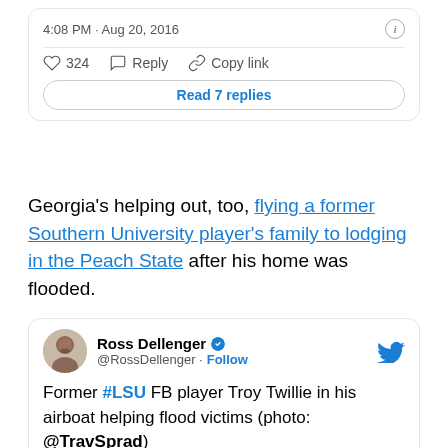[Figure (screenshot): Top portion of a tweet card showing timestamp '4:08 PM · Aug 20, 2016', an info icon, a horizontal divider, action icons for like (324), reply, and copy link, and a 'Read 7 replies' button.]
Georgia's helping out, too, flying a former Southern University player's family to lodging in the Peach State after his home was flooded.
Former Tigers are helping ...
[Figure (screenshot): Tweet card from Ross Dellenger (@RossDellenger) with blue verified checkmark and Follow link, Twitter bird icon top right, tweet text: 'Former #LSU FB player Troy Twillie in his airboat helping flood victims (photo: @TravSprad)']